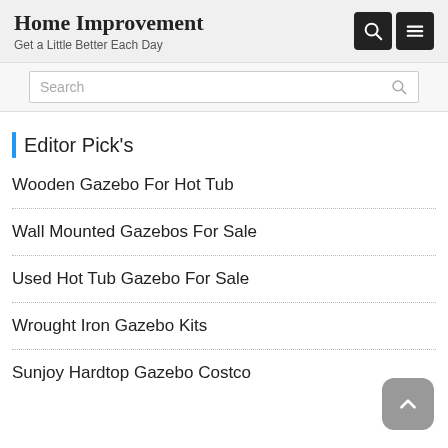Home Improvement
Get a Little Better Each Day
Search
Editor Pick's
Wooden Gazebo For Hot Tub
Wall Mounted Gazebos For Sale
Used Hot Tub Gazebo For Sale
Wrought Iron Gazebo Kits
Sunjoy Hardtop Gazebo Costco